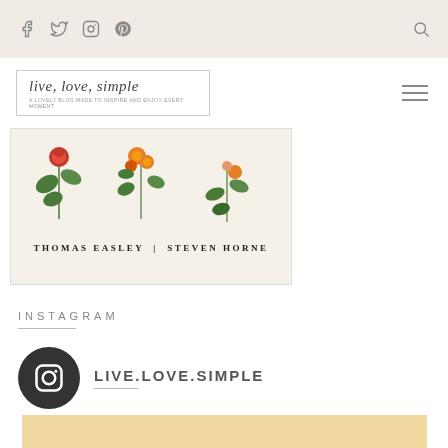Social icons: Facebook, Twitter, Instagram, Pinterest, Search
[Figure (logo): live.love.simple blog logo with cursive script text and small subtitle]
[Figure (illustration): Wedding invitation card with botanical flower illustrations and text THOMAS EASLEY | STEVEN HORNE]
INSTAGRAM
LIVE.LOVE.SIMPLE
[Figure (photo): Instagram feed image placeholder with golden/tan background color]